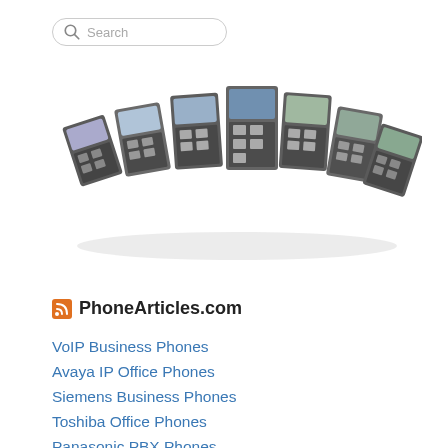[Figure (screenshot): Search bar with magnifying glass icon and placeholder text 'Search']
[Figure (photo): A curved arrangement of multiple Cisco IP business desk phones, various models with screens and keypads, displayed on a white background]
PhoneArticles.com
VoIP Business Phones
Avaya IP Office Phones
Siemens Business Phones
Toshiba Office Phones
Panasonic PBX Phones
ShoreTel Office Phone Systems
Cisco Business Phones
The PBX Phone Revolution